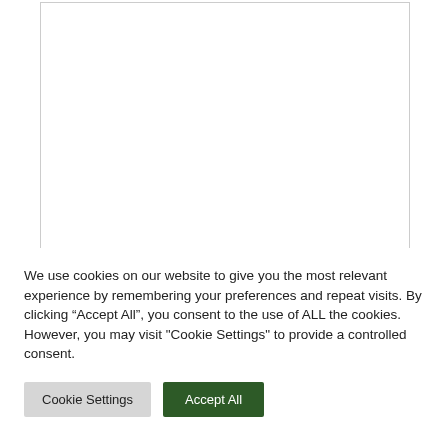[Figure (screenshot): Top portion of a web page document visible behind a cookie consent overlay dialog. The document area is shown as a white rectangle with a light gray border on the left and right sides. Content of the underlying page is not visible.]
We use cookies on our website to give you the most relevant experience by remembering your preferences and repeat visits. By clicking “Accept All”, you consent to the use of ALL the cookies. However, you may visit "Cookie Settings" to provide a controlled consent.
Cookie Settings
Accept All